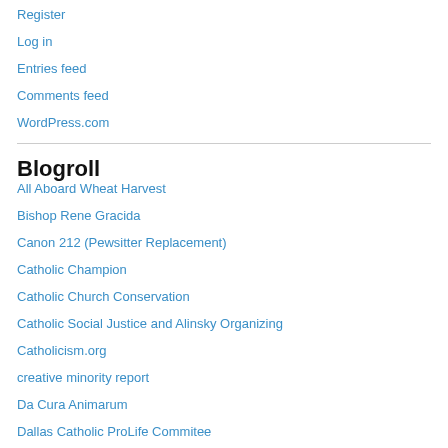Register
Log in
Entries feed
Comments feed
WordPress.com
Blogroll
All Aboard Wheat Harvest
Bishop Rene Gracida
Canon 212 (Pewsitter Replacement)
Catholic Champion
Catholic Church Conservation
Catholic Social Justice and Alinsky Organizing
Catholicism.org
creative minority report
Da Cura Animarum
Dallas Catholic ProLife Commitee
Eponymous Flower